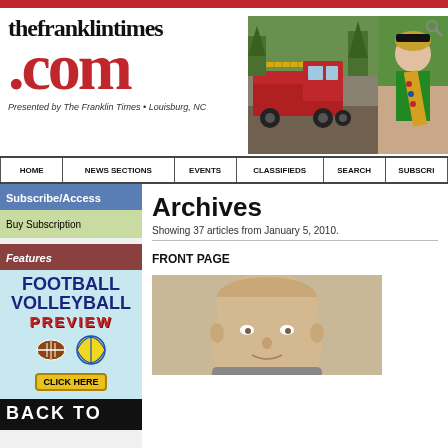thefranklintimes.com — Presented by The Franklin Times • Louisburg, NC
[Figure (screenshot): Fire truck photo and girl scout photo in header]
HOME
NEWS SECTIONS
EVENTS
CLASSIFIEDS
SEARCH
SUBSCRI...
Subscribe/Access
Buy Subscription
Features
[Figure (illustration): Football Volleyball Preview ad with click here button]
BACK TO
Archives
Showing 37 articles from January 5, 2010.
FRONT PAGE
[Figure (photo): Photo of a person's head/face — article thumbnail]